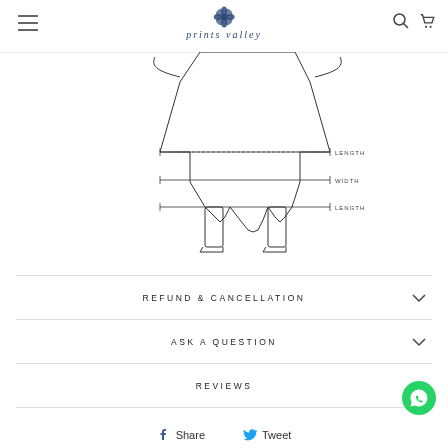prints valley
[Figure (schematic): Garment measurement diagram showing a dress/skirt with dimensional arrows labeled LENGTH, WIDTH, and LENGTH at different measurement points]
REFUND & CANCELLATION
ASK A QUESTION
REVIEWS
Share  Tweet